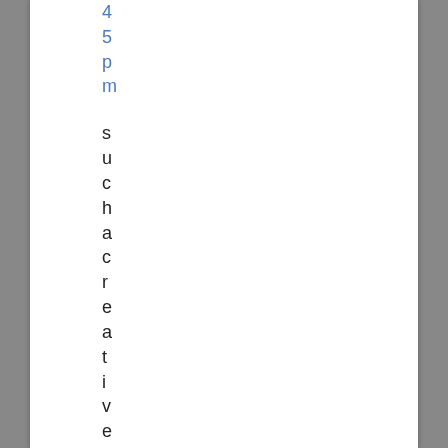45pm such a creative popsicl
such a creative popsicl